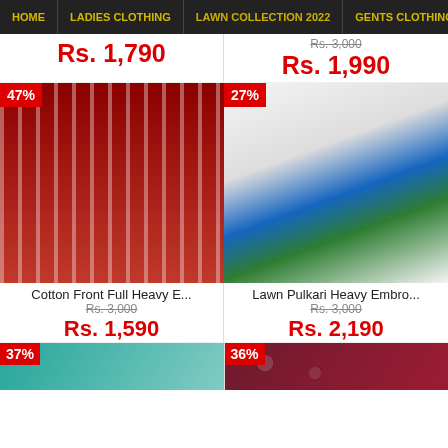HOME | LADIES CLOTHING | LAWN COLLECTION 2022 | GENTS CLOTHING
Rs. 1,790
Rs. 3,000 (strikethrough)
Rs. 1,990
[Figure (photo): Two women in red striped Pakistani suits, 47% discount badge]
[Figure (photo): Woman in white kameez with blue floral dupatta, 27% discount badge]
Cotton Front Full Heavy E...
Rs. 3,000
Rs. 1,590
Lawn Pulkari Heavy Embro...
Rs. 3,000
Rs. 2,190
[Figure (photo): Woman in teal outfit, 37% discount badge, partial view at bottom]
[Figure (photo): Red embroidered fabric, 36% discount badge, partial view at bottom]